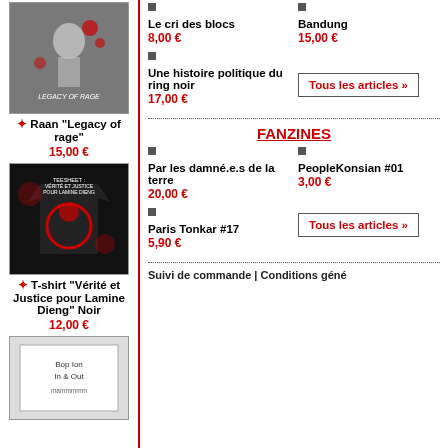[Figure (illustration): Cover art for Raan Legacy of Rage manga, warrior with red splashes]
Raan "Legacy of rage"
15,00 €
[Figure (photo): Black T-shirt with Vérité et Justice pour Lamine Dieng logo in red]
T-shirt "Vérité et Justice pour Lamine Dieng" Noir
12,00 €
[Figure (illustration): Book cover for Bop Ion In & Out]
Le cri des blocs
8,00 €
Bandung
15,00 €
Une histoire politique du ring noir
17,00 €
Tous les articles »
FANZINES
Par les damné.e.s de la terre
20,00 €
PeopleKonsian #01
3,00 €
Paris Tonkar #17
5,90 €
Tous les articles »
Suivi de commande | Conditions géné